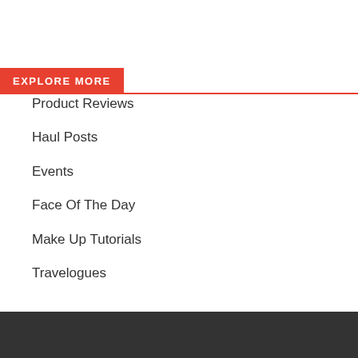EXPLORE MORE
Product Reviews
Haul Posts
Events
Face Of The Day
Make Up Tutorials
Travelogues